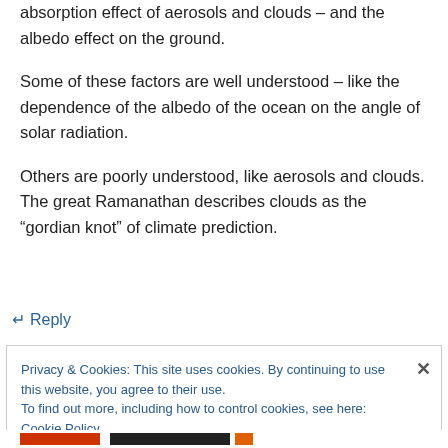absorption effect of aerosols and clouds – and the albedo effect on the ground.
Some of these factors are well understood – like the dependence of the albedo of the ocean on the angle of solar radiation.
Others are poorly understood, like aerosols and clouds. The great Ramanathan describes clouds as the “gordian knot” of climate prediction.
↵ Reply
Privacy & Cookies: This site uses cookies. By continuing to use this website, you agree to their use.
To find out more, including how to control cookies, see here: Cookie Policy
Close and accept